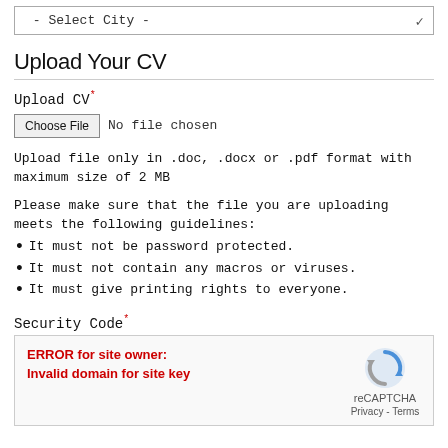- Select City -
Upload Your CV
Upload CV*
Choose File   No file chosen
Upload file only in .doc, .docx or .pdf format with maximum size of 2 MB
Please make sure that the file you are uploading meets the following guidelines:
It must not be password protected.
It must not contain any macros or viruses.
It must give printing rights to everyone.
Security Code*
[Figure (other): reCAPTCHA widget showing ERROR for site owner: Invalid domain for site key, with reCAPTCHA logo and Privacy - Terms links]